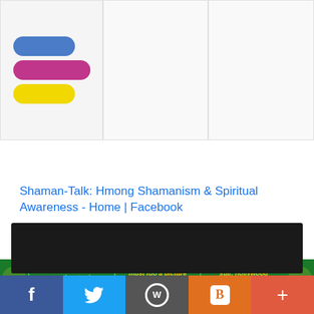[Figure (logo): App logo with three pill shapes: blue, pink/magenta, and yellow stacked vertically]
[Figure (screenshot): Green banner with three pricing cells in gold italic text: 'to simp to :) $3', 'must (do a picture of your palm) 2/2 $10', 'star, hollywood octor/actress, etc.) $5']
Shaman-Talk: Hmong Shamanism & Spiritual Awareness - Home | Facebook
source: lookaside.fbsbx.com
[Figure (screenshot): Dark/black background preview image area]
[Figure (infographic): Social sharing bar with Facebook (blue), Twitter (light blue), WordPress (grey), Blogger (orange), and more (+) buttons]